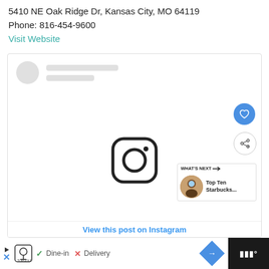5410 NE Oak Ridge Dr, Kansas City, MO 64119
Phone: 816-454-9600
Visit Website
[Figure (screenshot): Instagram embedded post widget showing loading skeleton with avatar circle and gray placeholder lines, Instagram camera icon in center, like and share action buttons on right side, 'WHAT'S NEXT' panel with Starbucks thumbnail, and 'View this post on Instagram' link at bottom]
Dine-in  Delivery  |  WHAT'S NEXT  Top Ten Starbucks...